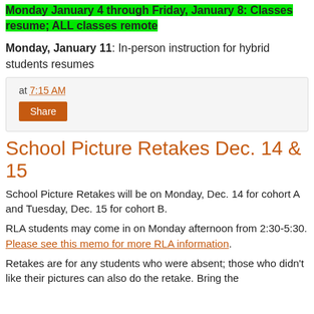Monday January 4 through Friday, January 8: Classes resume; ALL classes remote
Monday, January 11: In-person instruction for hybrid students resumes
at 7:15 AM
Share
School Picture Retakes Dec. 14 & 15
School Picture Retakes will be on Monday, Dec. 14 for cohort A and Tuesday, Dec. 15 for cohort B.
RLA students may come in on Monday afternoon from 2:30-5:30. Please see this memo for more RLA information.
Retakes are for any students who were absent; those who didn't like their pictures can also do the retake. Bring the